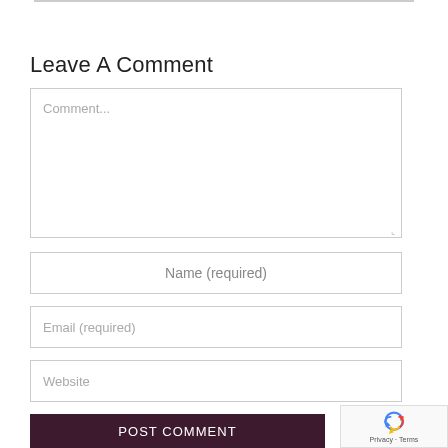Leave A Comment
Comment...
Name (required)
Email (required)
Website
POST COMMENT